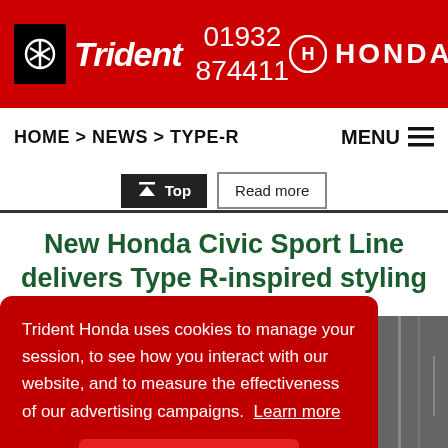Trident Honda — 01932 874411
HOME > NEWS > TYPE-R    MENU
Top   Read more
New Honda Civic Sport Line delivers Type R-inspired styling
Trident Honda uses cookies to manage your session, to see how you interact with our website, and to measure the effectiveness of our advertising campaigns. Learn more
Got it!